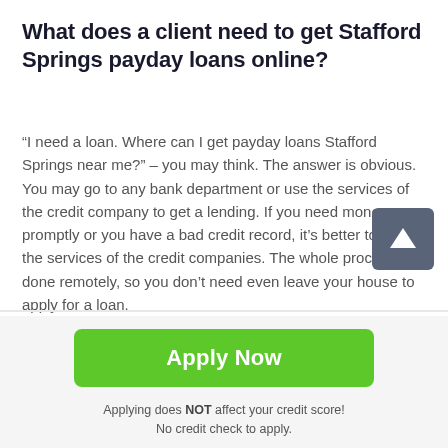What does a client need to get Stafford Springs payday loans online?
“I need a loan. Where can I get payday loans Stafford Springs near me?” – you may think. The answer is obvious. You may go to any bank department or use the services of the credit company to get a lending. If you need money promptly or you have a bad credit record, it’s better to apply the services of the credit companies. The whole procedure is done remotely, so you don’t need even leave your house to apply for a loan.
It’s quite easy to get a credit. Just follow some simple
[Figure (other): Scroll-to-top button: dark grey rounded square with white upward arrow icon]
Apply Now
Applying does NOT affect your credit score!
No credit check to apply.